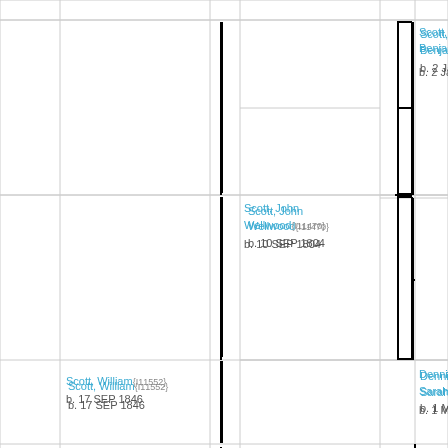[Figure (other): Genealogy/family tree chart showing ancestors. Scott, John Wellwood {I11470} b. 10 SEP 1804 in middle column. Scott, Benjamin (truncated) b. 2 J... in top right column. Dennis, Sarah{...} b. 1 M... in right column middle. Scott, William {I11552} b. 17 SEP 1846 in bottom left area. Vertical connector lines and bracket connectors shown throughout the grid layout.]